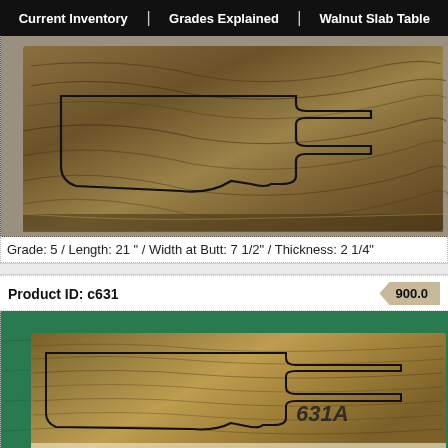Current Inventory | Grades Explained | Walnut Slab Table
[Figure (photo): Close-up photo of a dark walnut wood blank/stock with figured grain pattern, showing a guitar stock outline drawn on it, placed on a gray surface.]
Grade: 5 / Length: 21 " / Width at Butt: 7 1/2" / Thickness: 2 1/4"
Product ID: c631
900.0
[Figure (photo): Photo of a walnut wood blank laid flat on a green surface, with a rifle stock outline drawn on it in black marker, labeled '631A' in handwriting.]